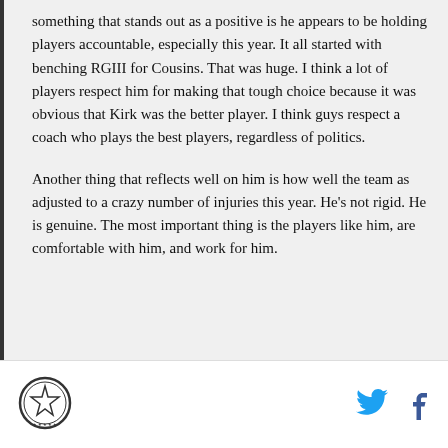something that stands out as a positive is he appears to be holding players accountable, especially this year. It all started with benching RGIII for Cousins. That was huge. I think a lot of players respect him for making that tough choice because it was obvious that Kirk was the better player. I think guys respect a coach who plays the best players, regardless of politics.
Another thing that reflects well on him is how well the team as adjusted to a crazy number of injuries this year. He's not rigid. He is genuine. The most important thing is the players like him, are comfortable with him, and work for him.
[Figure (logo): Circular logo with a star in the center and text around the border]